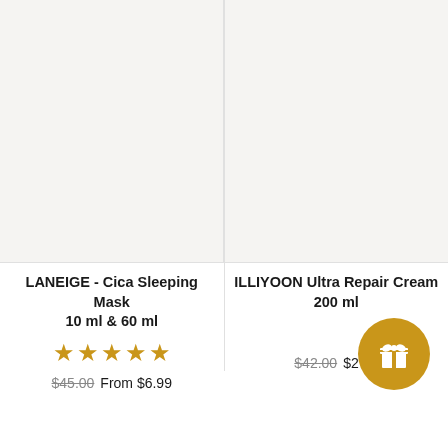[Figure (photo): Product image placeholder for LANEIGE Cica Sleeping Mask, light gray background]
[Figure (photo): Product image placeholder for ILLIYOON Ultra Repair Cream, light gray background]
LANEIGE - Cica Sleeping Mask 10 ml & 60 ml
[Figure (other): 5 gold star rating icons]
$45.00 From $6.99
ILLIYOON Ultra Repair Cream 200 ml
$42.00 $27.9
[Figure (illustration): Gold circular gift/loyalty button with gift box icon]